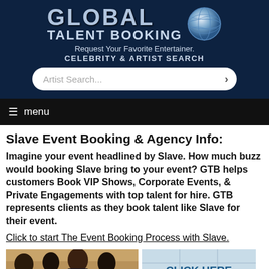[Figure (logo): Global Talent Booking logo with globe icon and text]
Request Your Favorite Entertainer.
CELEBRITY & ARTIST SEARCH
Artist Search...
menu
Slave Event Booking & Agency Info:
Imagine your event headlined by Slave. How much buzz would booking Slave bring to your event? GTB helps customers Book VIP Shows, Corporate Events, & Private Engagements with top talent for hire. GTB represents clients as they book talent like Slave for their event.
Click to start The Event Booking Process with Slave.
[Figure (photo): Photo of four men (the band Slave) on left, and a blue click here button panel on right]